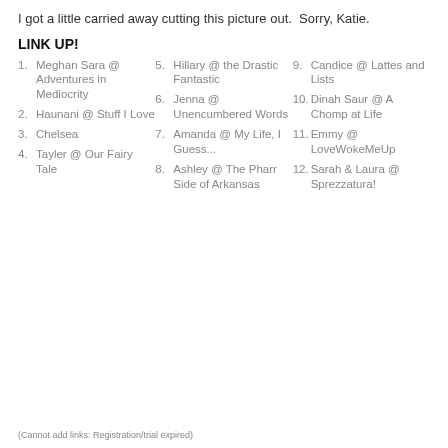I got a little carried away cutting this picture out.  Sorry, Katie.
LINK UP!
1. Meghan Sara @ Adventures in Mediocrity
2. Haunani @ Stuff I Love
3. Chelsea
4. Tayler @ Our Fairy Tale
5. Hillary @ the Drastic Fantastic
6. Jenna @ Unencumbered Words
7. Amanda @ My Life, I Guess...
8. Ashley @ The Pharr Side of Arkansas
9. Candice @ Lattes and Lists
10. Dinah Saur @ A Chomp at Life
11. Emmy @ LoveWokeMeUp
12. Sarah & Laura @ Sprezzatura!
(Cannot add links: Registration/trial expired)